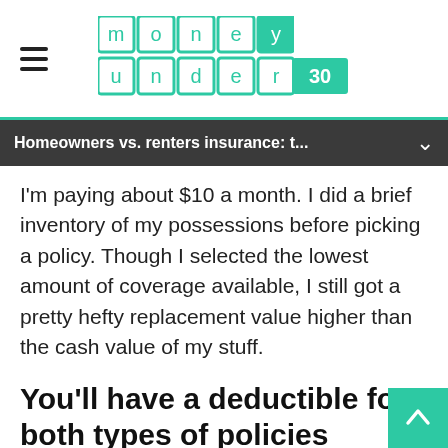money under 30
Homeowners vs. renters insurance: t...
I'm paying about $10 a month. I did a brief inventory of my possessions before picking a policy. Though I selected the lowest amount of coverage available, I still got a pretty hefty replacement value higher than the cash value of my stuff.
You'll have a deductible for both types of policies
Both types of policies require you to meet a deductible (not unlike health insurance) before making a claim. Depending on your insurance provider you'll pay a